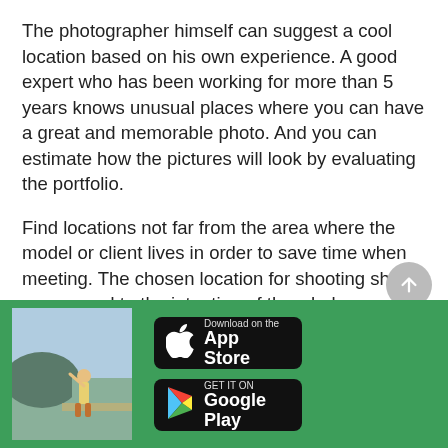The photographer himself can suggest a cool location based on his own experience. A good expert who has been working for more than 5 years knows unusual places where you can have a great and memorable photo. And you can estimate how the pictures will look by evaluating the portfolio.
Find locations not far from the area where the model or client lives in order to save time when meeting. The chosen location for shooting should correspond to the intention of the whole shooting. Beautiful places can be found by studying the Google search list on the map. In particular, you can visit specialized websites.Social networks and Instagram will help you, where you can
[Figure (photo): Person in bikini standing outdoors near water, app advertisement banner with green background]
[Figure (logo): Download on the App Store button (black, Apple logo)]
[Figure (logo): GET IT ON Google Play button (black, Google Play triangle logo)]